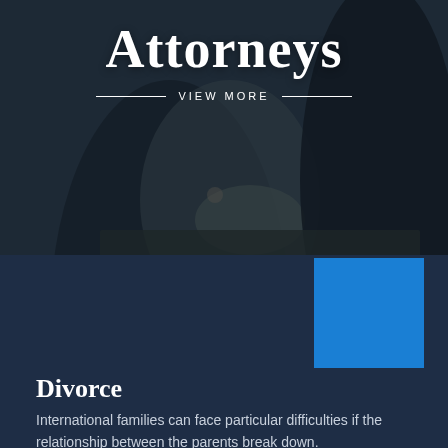[Figure (photo): Dark-toned photo of people sitting at a table in a legal/consultation setting, partially visible figures with hands clasped and a notepad on the table]
Attorneys
VIEW MORE
Divorce
International families can face particular difficulties if the relationship between the parents break down.